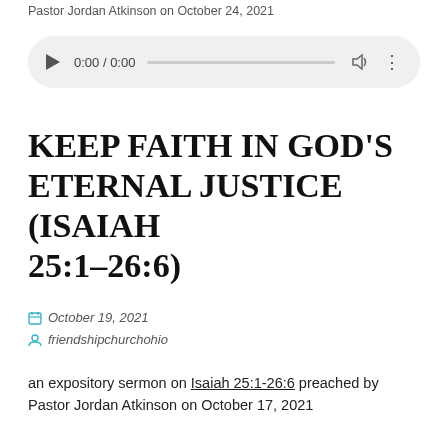Pastor Jordan Atkinson on October 24, 2021
[Figure (other): Audio player widget showing 0:00 / 0:00 with play button, progress bar, volume and more options icons]
KEEP FAITH IN GOD'S ETERNAL JUSTICE (ISAIAH 25:1-26:6)
October 19, 2021
friendshipchurchohio
an expository sermon on Isaiah 25:1-26:6 preached by Pastor Jordan Atkinson on October 17, 2021